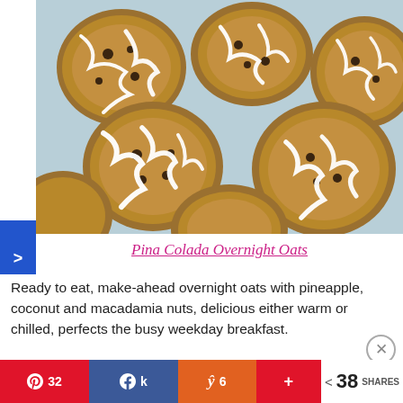[Figure (photo): Oatmeal raisin cookies with white icing drizzle on a blue-grey tray, top-down view]
Pina Colada Overnight Oats
Ready to eat, make-ahead overnight oats with pineapple, coconut and macadamia nuts, delicious either warm or chilled, perfects the busy weekday breakfast.
Advertisements
32 (Pinterest) | (Facebook) | 6 (Yummly) | + | < 38 SHARES